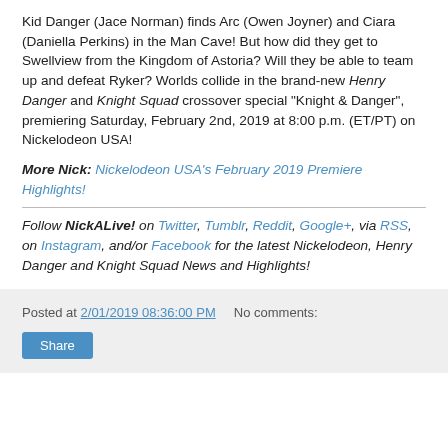Kid Danger (Jace Norman) finds Arc (Owen Joyner) and Ciara (Daniella Perkins) in the Man Cave! But how did they get to Swellview from the Kingdom of Astoria? Will they be able to team up and defeat Ryker? Worlds collide in the brand-new Henry Danger and Knight Squad crossover special "Knight & Danger", premiering Saturday, February 2nd, 2019 at 8:00 p.m. (ET/PT) on Nickelodeon USA!
More Nick: Nickelodeon USA's February 2019 Premiere Highlights!
Follow NickALive! on Twitter, Tumblr, Reddit, Google+, via RSS, on Instagram, and/or Facebook for the latest Nickelodeon, Henry Danger and Knight Squad News and Highlights!
Posted at 2/01/2019 08:36:00 PM   No comments:   Share